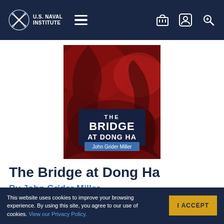U.S. Naval Institute
[Figure (photo): Book cover of 'The Bridge at Dong Ha' by John Grider Miller. Dark red background with abstract imagery. Title text: THE BRIDGE AT DONG HA, John Grider Miller.]
The Bridge at Dong Ha
By John Grider Miller
This is the true story of the legendary
This website uses cookies to improve your browsing experience. By using this site, you agree to our use of cookies. View our Privacy Policy.